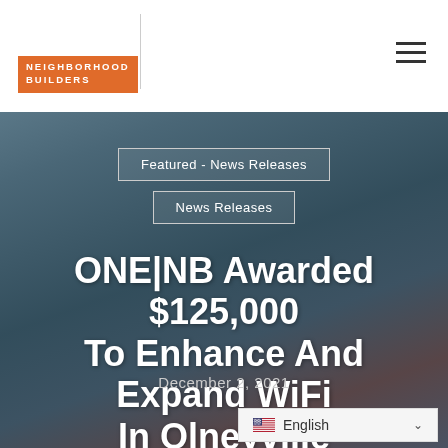[Figure (logo): ONE Neighborhood Builders logo — white text 'ONE' with vertical divider, orange box with 'NEIGHBORHOOD BUILDERS' in white]
Featured - News Releases
News Releases
ONE|NB Awarded $125,000 To Enhance And Expand WiFi In Olneyville
December 2, 2021
English